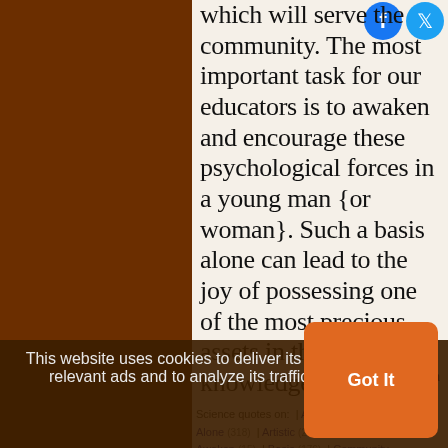which will serve the community. The most important task for our educators is to awaken and encourage these psychological forces in a young man {or woman}. Such a basis alone can lead to the joy of possessing one of the most precious assets in the world - knowledge or artistic skill.
— Albert Einstein
Science quotes on: | Against (332) | Aim (172) | Alone (318) | Artistic (24) | Asset (6) | Awaken (15) | Basis (176) | Community | Deserve (65) | Educator (6) | Encourage (41) | Give (202) | Great (1579) | Greater (289) | Guard (18) | Idea (861)
This website uses cookies to deliver its content, to show relevant ads and to analyze its traffic. Learn More